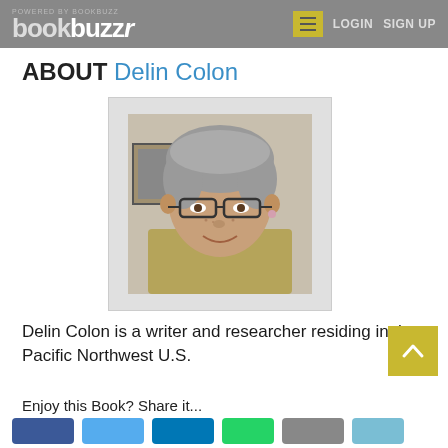POWERED BY BOOKBUZZ | LOGIN  SIGN UP
ABOUT Delin Colon
[Figure (photo): Portrait photo of Delin Colon, an older woman with short gray hair wearing glasses and a light green turtleneck, framed with a white/gray mat border]
Delin Colon is a writer and researcher residing in the Pacific Northwest U.S.
Enjoy this Book? Share it...